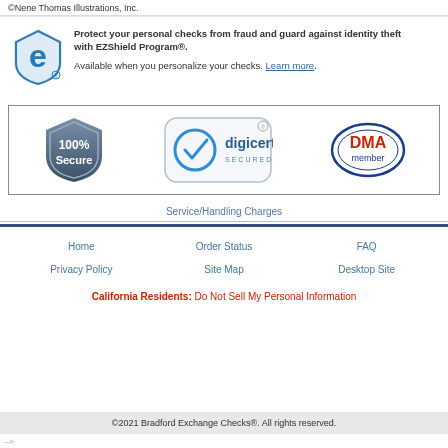©Nene Thomas Illustrations, Inc.
[Figure (logo): EZShield logo - stylized blue e with shield]
Protect your personal checks from fraud and guard against identity theft with EZShield Program®.
Available when you personalize your checks. Learn more.
[Figure (logo): Three trust badges: 100% Secure shield badge, DigiCert Secured badge, DMA member badge]
Service/Handling Charges
Home   Order Status   FAQ
Privacy Policy   Site Map   Desktop Site
California Residents: Do Not Sell My Personal Information
©2021 Bradford Exchange Checks®. All rights reserved.